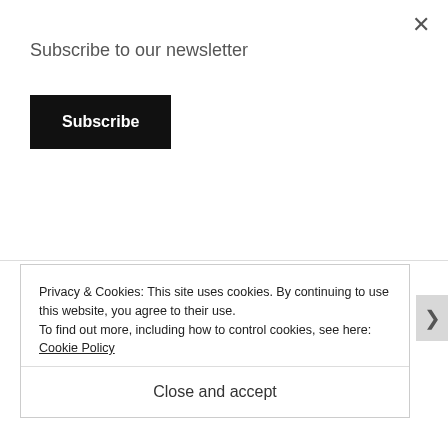Subscribe to our newsletter
Subscribe
[Figure (photo): Broken image placeholder labeled 'Marceline']
Privacy & Cookies: This site uses cookies. By continuing to use this website, you agree to their use.
To find out more, including how to control cookies, see here: Cookie Policy
Close and accept